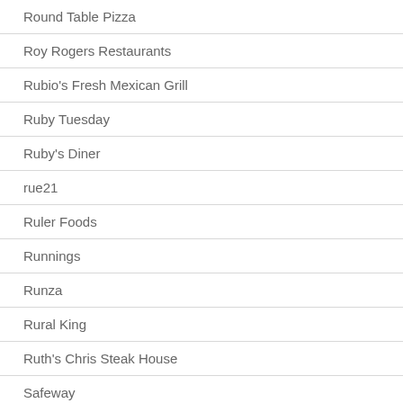Round Table Pizza
Roy Rogers Restaurants
Rubio's Fresh Mexican Grill
Ruby Tuesday
Ruby's Diner
rue21
Ruler Foods
Runnings
Runza
Rural King
Ruth's Chris Steak House
Safeway
Saks Fifth Avenue
Salad Station (The)